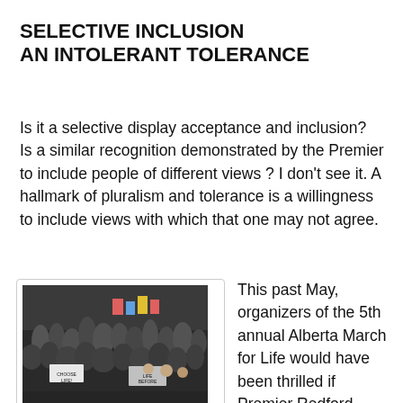SELECTIVE INCLUSION
AN INTOLERANT TOLERANCE
Is it a selective display acceptance and inclusion?  Is a similar recognition demonstrated by the Premier to include people of different views ? I don't see it. A hallmark of pluralism and tolerance is a willingness to include views with which that one may not agree.
[Figure (photo): Crowd of pro-life marchers at the Alberta Legislature, May 2012, with signs reading LIFE BEFORE and CHOOSE LIFE visible]
Pro-Life Albertans at Legislature, May 2012
This past May, organizers of the 5th annual Alberta March for Life would have been thrilled if Premier Redford addressed their crowd of